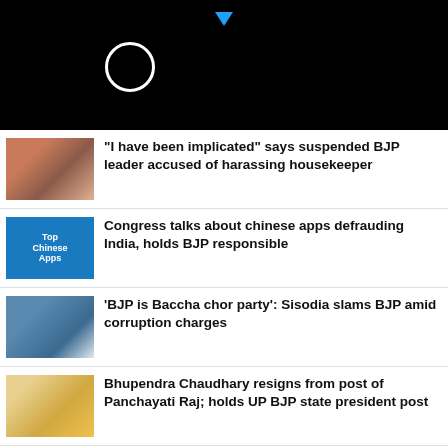[Figure (screenshot): Black header bar with loading spinner circle and Twitter bird icon]
"I have been implicated" says suspended BJP leader accused of harassing housekeeper
Congress talks about chinese apps defrauding India, holds BJP responsible
'BJP is Baccha chor party': Sisodia slams BJP amid corruption charges
Bhupendra Chaudhary resigns from post of Panchayati Raj; holds UP BJP state president post
Excise policy row: CBI searchs Sisodia's bank locker
J.P. Nadda hit out at CM Kejriwal over Delhi